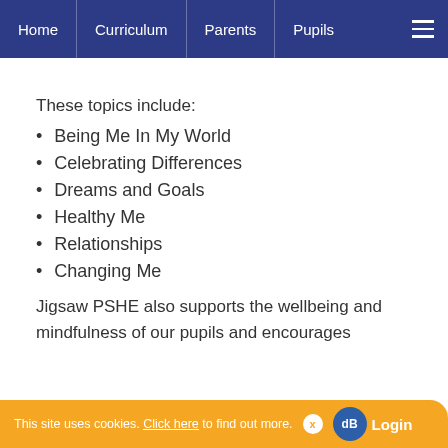Home | Curriculum | Parents | Pupils
These topics include:
Being Me In My World
Celebrating Differences
Dreams and Goals
Healthy Me
Relationships
Changing Me
Jigsaw PSHE also supports the wellbeing and mindfulness of our pupils and encourages
This site uses cookies. Click here to find out more.  x  Login